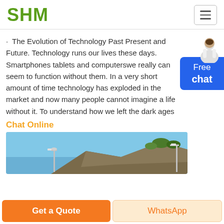SHM
· The Evolution of Technology Past Present and Future. Technology runs our lives these days. Smartphones tablets and computerswe really can seem to function without them. In a very short amount of time technology has exploded in the market and now many people cannot imagine a life without it. To understand how we left the dark ages
Chat Online
[Figure (photo): Outdoor photo showing a rocky hillside with street light poles against a blue sky]
Get a Quote
WhatsApp